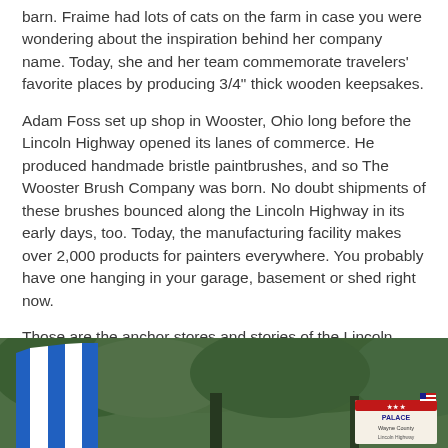barn. Fraime had lots of cats on the farm in case you were wondering about the inspiration behind her company name. Today, she and her team commemorate travelers' favorite places by producing 3/4" thick wooden keepsakes.
Adam Foss set up shop in Wooster, Ohio long before the Lincoln Highway opened its lanes of commerce. He produced handmade bristle paintbrushes, and so The Wooster Brush Company was born. No doubt shipments of these brushes bounced along the Lincoln Highway in its early days, too. Today, the manufacturing facility makes over 2,000 products for painters everywhere. You probably have one hanging in your garage, basement or shed right now.
Those are the anchor stores and stories of the Lincoln Highway through Wayne County, Ohio, some over a hundred years in the making.
[Figure (photo): Outdoor photo showing trees and foliage in the background with blue and white striped awning or tent on the left side and a decorative sign with American flag motif visible on the right side.]